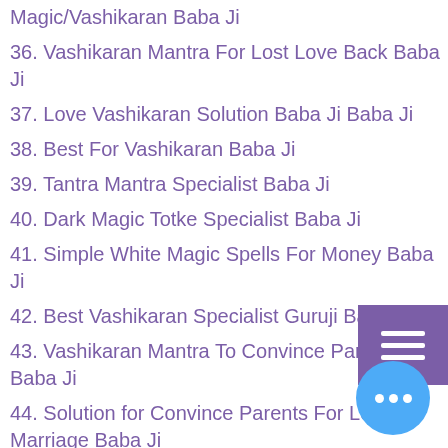Magic/Vashikaran Baba Ji
36. Vashikaran Mantra For Lost Love Back Baba Ji
37. Love Vashikaran Solution Baba Ji Baba Ji
38. Best For Vashikaran Baba Ji
39. Tantra Mantra Specialist Baba Ji
40. Dark Magic Totke Specialist Baba Ji
41. Simple White Magic Spells For Money Baba Ji
42. Best Vashikaran Specialist Guruji Baba Ji
43. Vashikaran Mantra To Convince Parents Baba Ji
44. Solution for Convince Parents For Love Marriage Baba Ji
45. Monetary Problem Solution Baba Ji
46. Vashikaran Mantra To Attract Husband Baba Ji
47. Best Breaking Love Binding Spell Baba Ji
48. Kala Jadu Se Bachne Ke Upay Baba Ji
49. Mantra For Successful Married Life Baba Ji